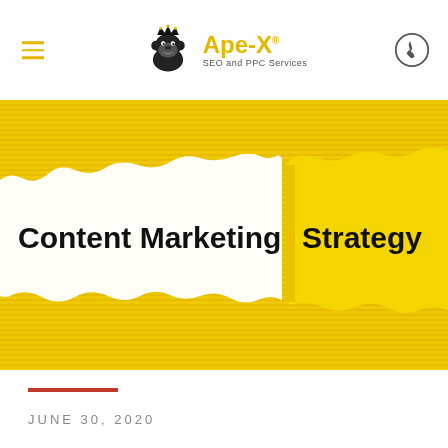Ape-X SEO and PPC Services
[Figure (illustration): Yellow corrugated/striped background with two pieces of torn paper revealing text 'Content Marketing' on white paper left side and 'Strategy' on yellow paper right side]
JUNE 30, 2020